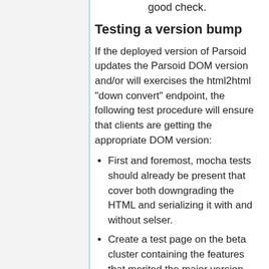good check.
Testing a version bump
If the deployed version of Parsoid updates the Parsoid DOM version and/or will exercises the html2html "down convert" endpoint, the following test procedure will ensure that clients are getting the appropriate DOM version:
First and foremost, mocha tests should already be present that cover both downgrading the HTML and serializing it with and without selser.
Create a test page on the beta cluster containing the features that merited the major version bump.
Deploy the desired commit to the beta cluster and, as a sanity check, make requests for the above test page from Parsoid directly (via